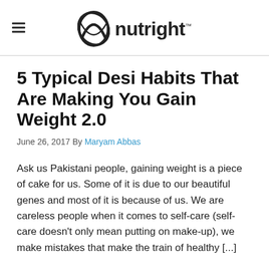nutright
5 Typical Desi Habits That Are Making You Gain Weight 2.0
June 26, 2017 By Maryam Abbas
Ask us Pakistani people, gaining weight is a piece of cake for us. Some of it is due to our beautiful genes and most of it is because of us. We are careless people when it comes to self-care (self-care doesn't only mean putting on make-up), we make mistakes that make the train of healthy [...]